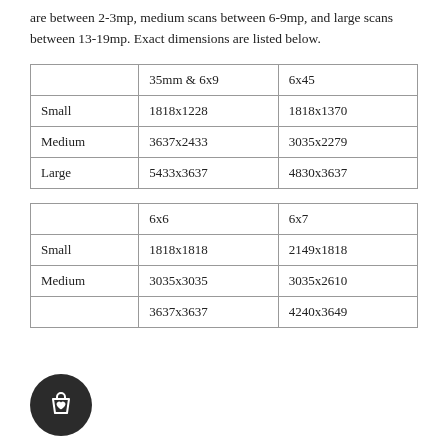are between 2-3mp, medium scans between 6-9mp, and large scans between 13-19mp. Exact dimensions are listed below.
|  | 35mm & 6x9 | 6x45 |
| --- | --- | --- |
| Small | 1818x1228 | 1818x1370 |
| Medium | 3637x2433 | 3035x2279 |
| Large | 5433x3637 | 4830x3637 |
|  | 6x6 | 6x7 |
| --- | --- | --- |
| Small | 1818x1818 | 2149x1818 |
| Medium | 3035x3035 | 3035x2610 |
|  | 3637x3637 | 4240x3649 |